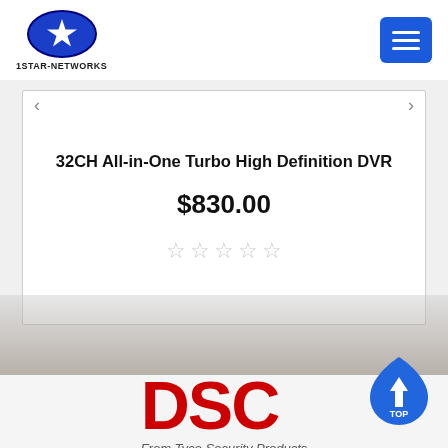[Figure (logo): 1STAR-NETWORKS logo: blue oval with white star, company name below]
[Figure (other): Blue hamburger menu button with three white horizontal lines]
32CH All-in-One Turbo High Definition DVR
$830.00
[Figure (other): Five empty/unfilled star rating icons in light gray]
[Figure (logo): DSC logo in red bold text with tagline 'From Tyco Security Products']
[Figure (other): Blue shield with upward arrow and 'TOP' label - scroll to top button]